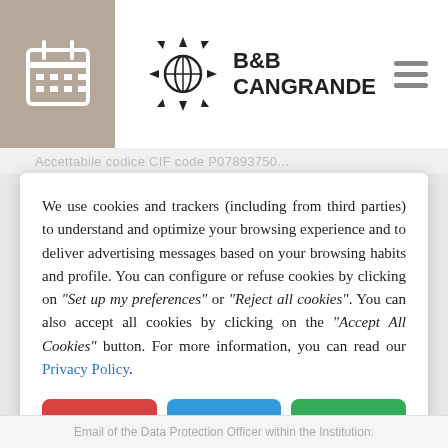[Figure (logo): B&B Cangrande logo with calendar icon on the left, decorative emblem and text 'B&B CANGRANDE' in the center, and hamburger menu icon on the right]
We use cookies and trackers (including from third parties) to understand and optimize your browsing experience and to deliver advertising messages based on your browsing habits and profile. You can configure or refuse cookies by clicking on "Set up my preferences" or "Reject all cookies". You can also accept all cookies by clicking on the "Accept All Cookies" button. For more information, you can read our Privacy Policy.
Email of the Data Protection Officer within the Institution: